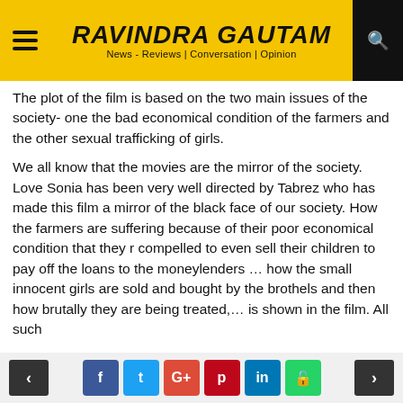RAVINDRA GAUTAM | News - Reviews | Conversation | Opinion
The plot of the film is based on the two main issues of the society- one the bad economical condition of the farmers and the other sexual trafficking of girls.
We all know that the movies are the mirror of the society. Love Sonia has been very well directed by Tabrez who has made this film a mirror of the black face of our society. How the farmers are suffering because of their poor economical condition that they r compelled to even sell their children to pay off the loans to the moneylenders … how the small innocent girls are sold and bought by the brothels and then how brutally they are being treated,… is shown in the film. All such
< f t G+ p in WhatsApp >